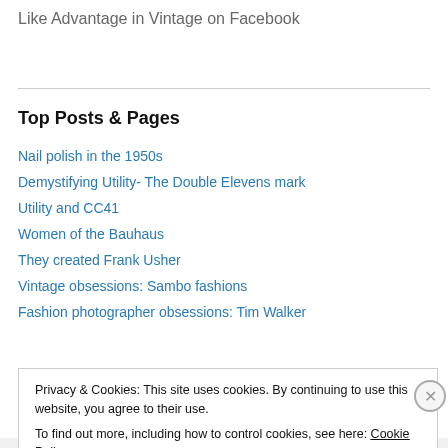Like Advantage in Vintage on Facebook
Top Posts & Pages
Nail polish in the 1950s
Demystifying Utility- The Double Elevens mark
Utility and CC41
Women of the Bauhaus
They created Frank Usher
Vintage obsessions: Sambo fashions
Fashion photographer obsessions: Tim Walker
Privacy & Cookies: This site uses cookies. By continuing to use this website, you agree to their use. To find out more, including how to control cookies, see here: Cookie Policy